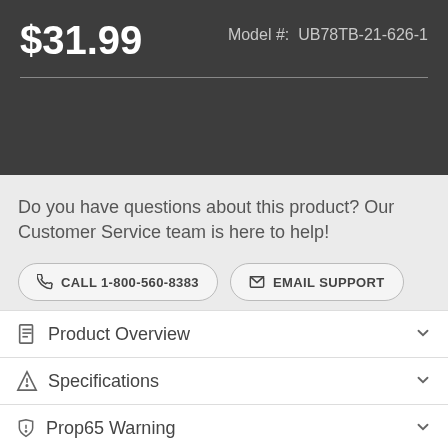$31.99
Model #: UB78TB-21-626-1
Do you have questions about this product? Our Customer Service team is here to help!
CALL 1-800-560-8383
EMAIL SUPPORT
Product Overview
Specifications
Prop65 Warning